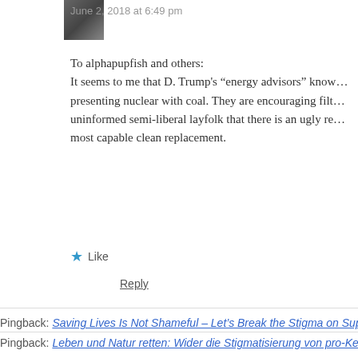June 2, 2018 at 6:49 pm
To alphapupfish and others:
It seems to me that D. Trump's “energy advisors” know... presenting nuclear with coal. They are encouraging filt... uninformed semi-liberal layfolk that there is an ugly re... most capable clean replacement.
★ Like
Reply
Pingback: Saving Lives Is Not Shameful – Let’s Break the Stigma on Supportin…
Pingback: Leben und Natur retten: Wider die Stigmatisierung von pro-Kernene…
Pingback: Nuclear is a Crucial Piece of the Carbon-Free Puzzle | Thoughtsca…